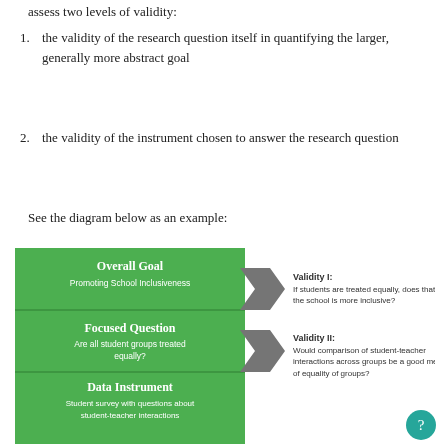assess two levels of validity:
1. the validity of the research question itself in quantifying the larger, generally more abstract goal
2. the validity of the instrument chosen to answer the research question
See the diagram below as an example:
[Figure (flowchart): Flowchart showing three green boxes (Overall Goal: Promoting School Inclusiveness; Focused Question: Are all student groups treated equally?; Data Instrument: Student survey with questions about student-teacher interactions) connected by arrows to two grey chevron shapes labeled Validity I and Validity II with explanatory text.]